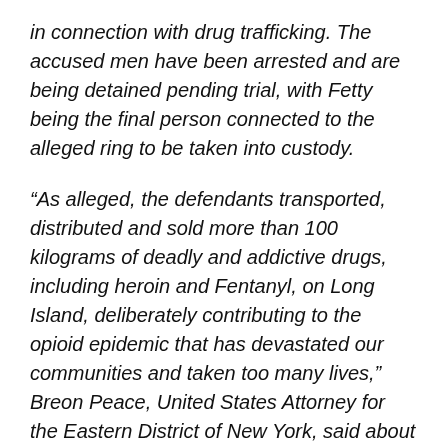in connection with drug trafficking. The accused men have been arrested and are being detained pending trial, with Fetty being the final person connected to the alleged ring to be taken into custody.
“As alleged, the defendants transported, distributed and sold more than 100 kilograms of deadly and addictive drugs, including heroin and Fentanyl, on Long Island, deliberately contributing to the opioid epidemic that has devastated our communities and taken too many lives,” Breon Peace, United States Attorney for the Eastern District of New York, said about the case. “We will continue to work nonstop with our law enforcement partners to keep our neighborhoods safe from the scourge of dangerous drugs and gun violence.”